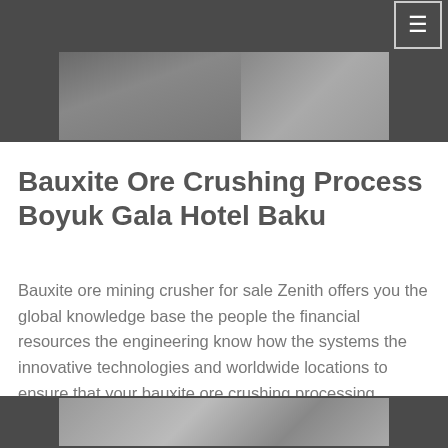☰
[Figure (photo): Industrial mining or construction site machinery, top photo strip]
Bauxite Ore Crushing Process Boyuk Gala Hotel Baku
Bauxite ore mining crusher for sale Zenith offers you the global knowledge base the people the financial resources the engineering know how the systems the innovative technologies and worldwide locations to ensure that your bauxite ore crushing processing operations will profit …
[Figure (photo): Industrial mining or processing equipment, bottom photo strip]